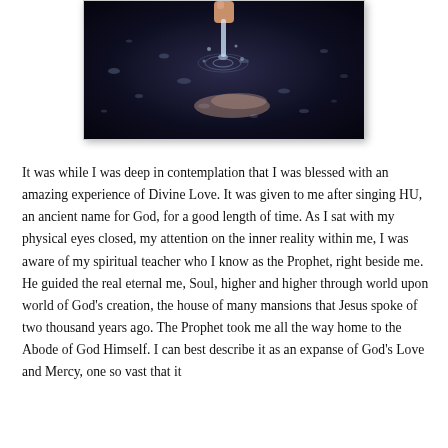[Figure (photo): A photograph showing a hand/fingers pouring or dripping water over what appears to be a fish or object in dark water, with water droplets visible.]
It was while I was deep in contemplation that I was blessed with an amazing experience of Divine Love. It was given to me after singing HU, an ancient name for God, for a good length of time. As I sat with my physical eyes closed, my attention on the inner reality within me, I was aware of my spiritual teacher who I know as the Prophet, right beside me. He guided the real eternal me, Soul, higher and higher through world upon world of God's creation, the house of many mansions that Jesus spoke of two thousand years ago. The Prophet took me all the way home to the Abode of God Himself. I can best describe it as an expanse of God's Love and Mercy, one so vast that it